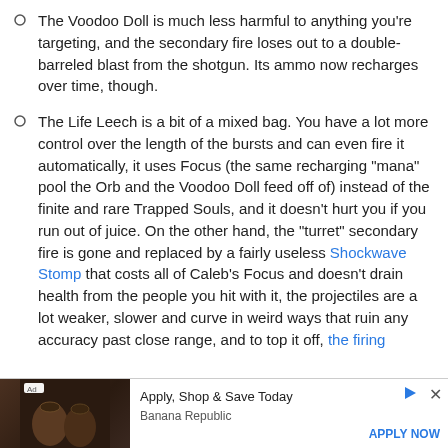The Voodoo Doll is much less harmful to anything you're targeting, and the secondary fire loses out to a double-barreled blast from the shotgun. Its ammo now recharges over time, though.
The Life Leech is a bit of a mixed bag. You have a lot more control over the length of the bursts and can even fire it automatically, it uses Focus (the same recharging "mana" pool the Orb and the Voodoo Doll feed off of) instead of the finite and rare Trapped Souls, and it doesn't hurt you if you run out of juice. On the other hand, the "turret" secondary fire is gone and replaced by a fairly useless Shockwave Stomp that costs all of Caleb's Focus and doesn't drain health from the people you hit with it, the projectiles are a lot weaker, slower and curve in weird ways that ruin any accuracy past close range, and to top it off, the firing
[Figure (other): Advertisement bar: Ad badge, image of two people in hats, text 'Apply, Shop & Save Today' and 'Banana Republic', 'APPLY NOW' link, play and close buttons.]